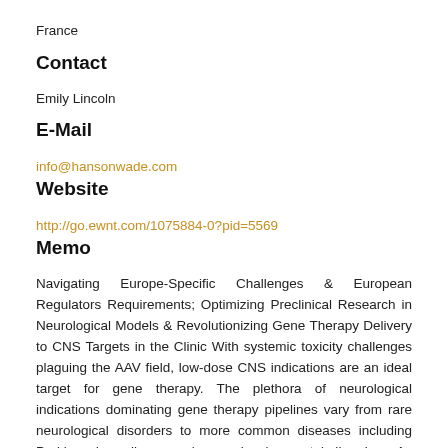France
Contact
Emily Lincoln
E-Mail
info@hansonwade.com
Website
http://go.ewnt.com/1075884-0?pid=5569
Memo
Navigating Europe-Specific Challenges & European Regulators Requirements; Optimizing Preclinical Research in Neurological Models & Revolutionizing Gene Therapy Delivery to CNS Targets in the Clinic With systemic toxicity challenges plaguing the AAV field, low-dose CNS indications are an ideal target for gene therapy. The plethora of neurological indications dominating gene therapy pipelines vary from rare neurological disorders to more common diseases including Parkinson's, epilepsy and neurodevelopmental disorders. As programs advance globally, the 3rd Annual Gene Therapy for Neurological Disorders Europe meeting is the field's